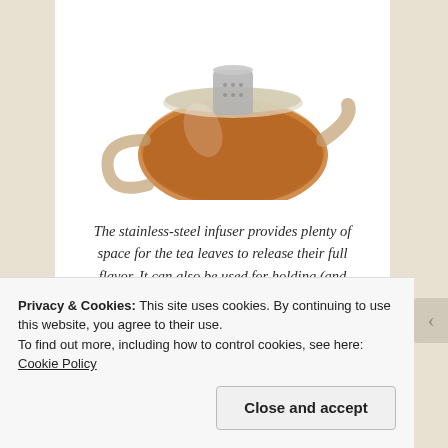[Figure (photo): Glass teapot with amber tea inside and a stainless-steel infuser visible at the top, shown on a white background.]
The stainless-steel infuser provides plenty of space for the tea leaves to release their full flavor. It can also be used for holding (and easily removing) tea bags. Click HERE for more.
Privacy & Cookies: This site uses cookies. By continuing to use this website, you agree to their use.
To find out more, including how to control cookies, see here: Cookie Policy